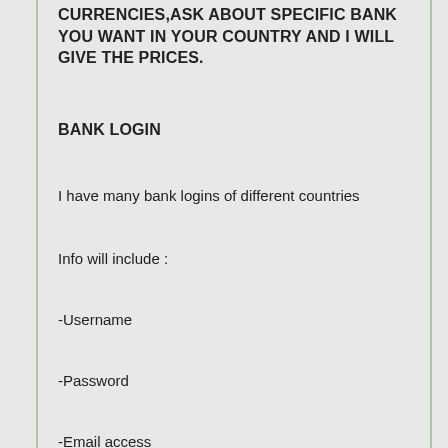CURRENCIES,ASK ABOUT SPECIFIC BANK YOU WANT IN YOUR COUNTRY AND I WILL GIVE THE PRICES.
BANK LOGIN
I have many bank logins of different countries
Info will include :
-Username
-Password
-Email access
-Last IP login